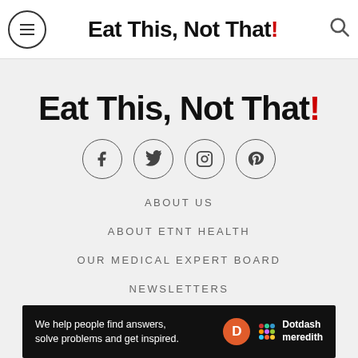Eat This, Not That!
Eat This, Not That!
[Figure (other): Social media icon buttons in circles: Facebook, Twitter, Instagram, Pinterest]
ABOUT US
ABOUT ETNT HEALTH
OUR MEDICAL EXPERT BOARD
NEWSLETTERS
PARTNER SITES
We help people find answers, solve problems and get inspired. Dotdash meredith